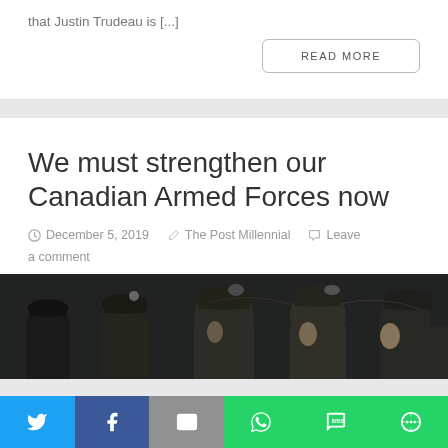that Justin Trudeau is [...]
READ MORE
We must strengthen our Canadian Armed Forces now
December 5, 2019  The Post Millennial  Leave a comment
[Figure (photo): Soldiers in military uniforms and berets standing in a row, viewed in profile]
[Figure (infographic): Social media share bar with Twitter, Facebook, Email, WhatsApp, SMS, and More buttons]